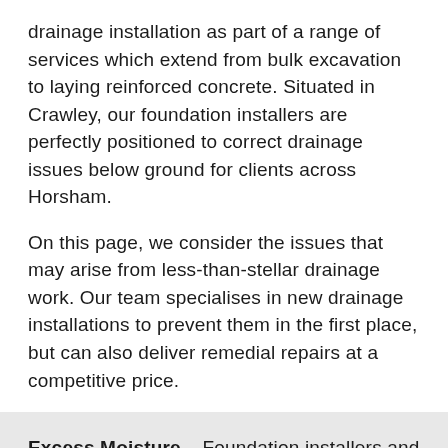drainage installation as part of a range of services which extend from bulk excavation to laying reinforced concrete. Situated in Crawley, our foundation installers are perfectly positioned to correct drainage issues below ground for clients across Horsham.
On this page, we consider the issues that may arise from less-than-stellar drainage work. Our team specialises in new drainage installations to prevent them in the first place, but can also deliver remedial repairs at a competitive price.
Excess Moisture – Foundation installers and those specialising in groundworks must provide the right foundation for the project, but without